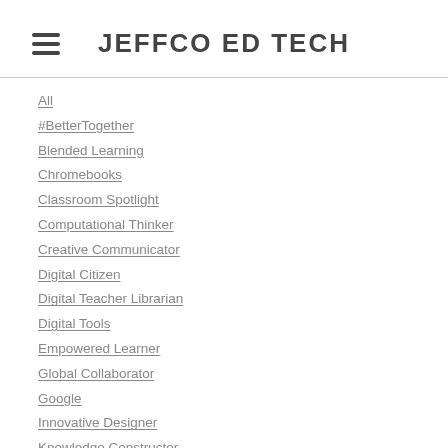JEFFCO ED TECH
All
#BetterTogether
Blended Learning
Chromebooks
Classroom Spotlight
Computational Thinker
Creative Communicator
Digital Citizen
Digital Teacher Librarian
Digital Tools
Empowered Learner
Global Collaborator
Google
Innovative Designer
Knowledge Constructor
News & Events
Professional Resources
Schoology